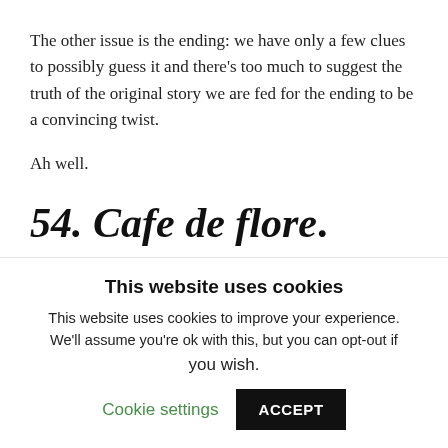The other issue is the ending: we have only a few clues to possibly guess it and there's too much to suggest the truth of the original story we are fed for the ending to be a convincing twist.
Ah well.
54. Cafe de flore.
This website uses cookies
This website uses cookies to improve your experience. We'll assume you're ok with this, but you can opt-out if you wish.
Cookie settings   ACCEPT